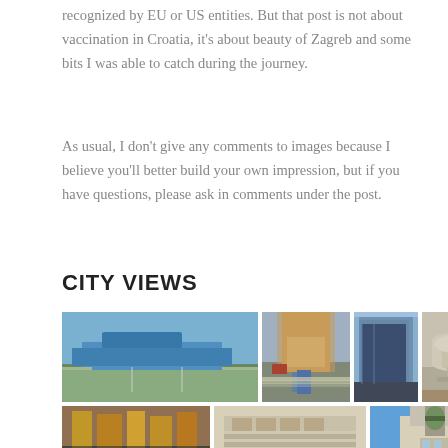recognized by EU or US entities. But that post is not about vaccination in Croatia, it's about beauty of Zagreb and some bits I was able to catch during the journey.
As usual, I don't give any comments to images because I believe you'll better build your own impression, but if you have questions, please ask in comments under the post.
CITY VIEWS
[Figure (photo): Grid of 7 city photos from Zagreb: airport exterior, street with luggage/crosswalk, modern glass building corner, circular pavilion building, colorful street with cars and trees, classical building facade, church tower against blue sky]
[Figure (photo): Zagreb airport exterior - low modern building with clear sky]
[Figure (photo): Zagreb street scene with crosswalk and luggage/trolley]
[Figure (photo): Modern glass building corner in Zagreb]
[Figure (photo): Circular pavilion building with fountain steps]
[Figure (photo): Zagreb street with colorful buildings, cars, and trees]
[Figure (photo): Classical/neoclassical building facade in Zagreb]
[Figure (photo): Church or bell tower against clear blue sky]